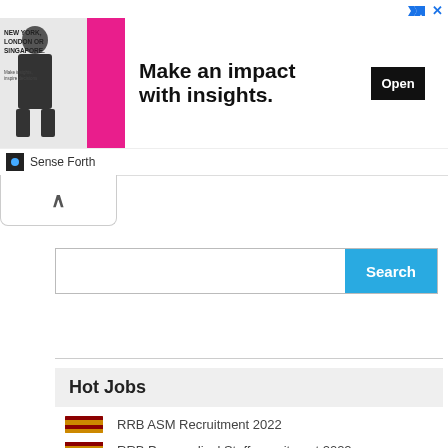[Figure (screenshot): Advertisement banner: image of man in suit with text 'NEW YORK, LONDON OR SINGAPORE.' on left, large text 'Make an impact with insights.' in center, black 'Open' button on right. Sense Forth brand at bottom.]
[Figure (screenshot): Collapse/minimize tab with upward chevron arrow]
[Figure (screenshot): Search bar with text input field and blue Search button]
Hot Jobs
RRB ASM Recruitment 2022
RRB Paramedical Staff recruitment 2022